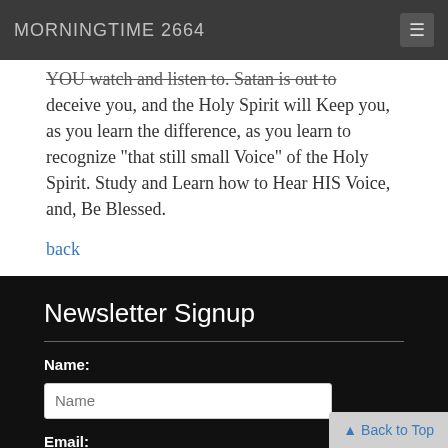MORNINGTIME 2664
YOU watch and listen to. Satan is out to deceive you, and the Holy Spirit will Keep you, as you learn the difference, as you learn to recognize "that still small Voice" of the Holy Spirit. Study and Learn how to Hear HIS Voice, and, Be Blessed.
back
Newsletter Signup
Name:
Email: